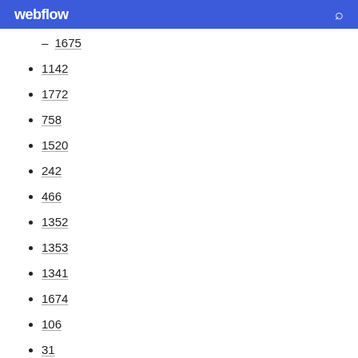webflow
1675
1142
1772
758
1520
242
466
1352
1353
1341
1674
106
31